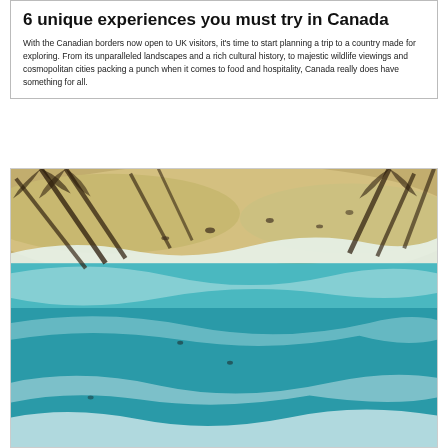6 unique experiences you must try in Canada
With the Canadian borders now open to UK visitors, it's time to start planning a trip to a country made for exploring. From its unparalleled landscapes and a rich cultural history, to majestic wildlife viewings and cosmopolitan cities packing a punch when it comes to food and hospitality, Canada really does have something for all.
[Figure (photo): Aerial view of a tropical beach with palm tree shadows cast across sandy shore and turquoise ocean waves]